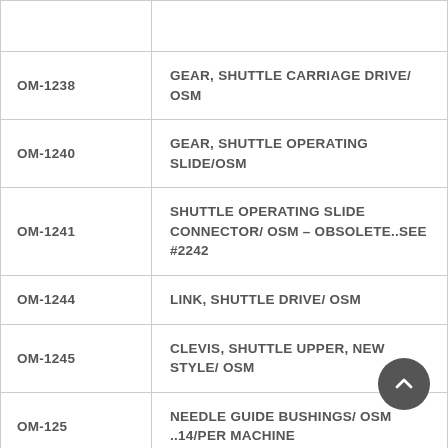| Code | Description |
| --- | --- |
| OM-1238 | GEAR, SHUTTLE CARRIAGE DRIVE/ OSM |
| OM-1240 | GEAR, SHUTTLE OPERATING SLIDE/OSM |
| OM-1241 | SHUTTLE OPERATING SLIDE CONNECTOR/ OSM – OBSOLETE..SEE #2242 |
| OM-1244 | LINK, SHUTTLE DRIVE/ OSM |
| OM-1245 | CLEVIS, SHUTTLE UPPER, NEW STYLE/ OSM |
| OM-125 | NEEDLE GUIDE BUSHINGS/ OSM ..14/PER MACHINE |
|  | SPRING, SHUTTLE RELEASE SCREW/ |